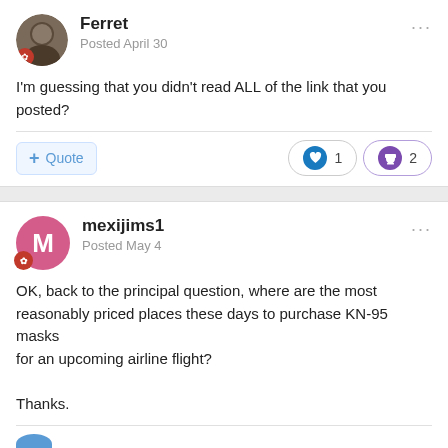Ferret
Posted April 30
I'm guessing that you didn't read ALL of the link that you posted?
mexijims1
Posted May 4
OK, back to the principal question, where are the most reasonably priced places these days to purchase KN-95 masks for an upcoming airline flight?

Thanks.